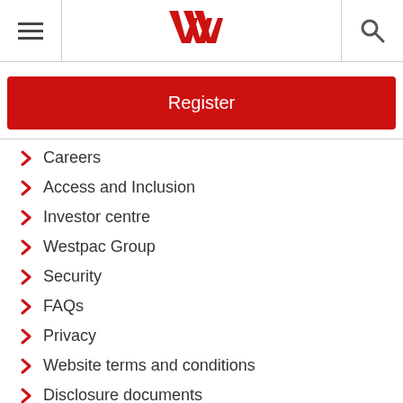Westpac navigation header with hamburger menu, Westpac logo, and search icon
Register
Careers
Access and Inclusion
Investor centre
Westpac Group
Security
FAQs
Privacy
Website terms and conditions
Disclosure documents
Site index